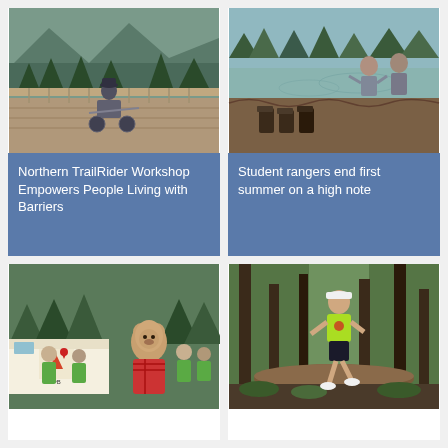[Figure (photo): Person in a wheelchair/TrailRider on a wooden boardwalk or bridge with mountain scenery and trees in the background]
Northern TrailRider Workshop Empowers People Living with Barriers
[Figure (photo): Student rangers wading in a lake or river, with hiking boots lined up on the shore foreground and trees in background]
Student rangers end first summer on a high note
[Figure (photo): People in green shirts with a bear mascot costume and a truck/trailer with logos at an outdoor event]
[Figure (photo): A person in a bright green shirt running or climbing over a log in a forest trail setting]